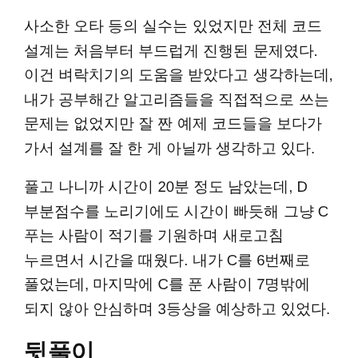사소한 오타 등의 실수는 있었지만 전체 코드 설계는 처음부터 부드럽게 진행된 문제였다. 이건 벼락치기의 도움을 받았다고 생각하는데, 내가 공부해간 알고리즘들을 직접적으로 쓰는 문제는 없었지만 잘 짠 예제 코드들을 보다가 가서 설계를 잘 한 게 아닐까 생각하고 있다.
풀고 나니까 시간이 20분 정도 남았는데, D 부분점수를 노리기에도 시간이 빠듯해 그냥 C 푸는 사람이 적기를 기원하며 새로고침 누르면서 시간을 때웠다. 내가 C를 6번째로 풀었는데, 마지막에 C를 푼 사람이 7명밖에 되지 않아 안심하며 3등상을 예상하고 있었다.
뒷풀이
대회 끝나고 나서는 미니 토크 하고, 경품 추첨 하고, 설문조사 등을 하다가 시상식을 했다. 미니 토크에서는 시간제한이 적다고 말이 많았던 2차 3번에 대해 교수님이 풀이해 주셨는데, 말이 많았던 이유가 같은 O(NlgN) 풀이임에도 불구하고 통과